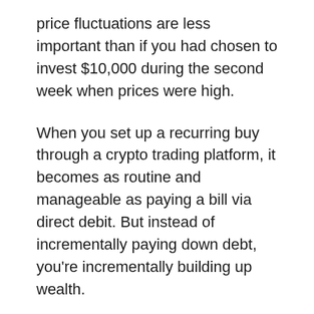price fluctuations are less important than if you had chosen to invest $10,000 during the second week when prices were high.
When you set up a recurring buy through a crypto trading platform, it becomes as routine and manageable as paying a bill via direct debit. But instead of incrementally paying down debt, you're incrementally building up wealth.
What are the Benefits of